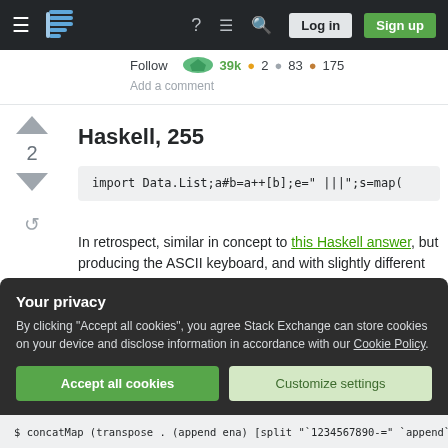Stack Exchange navigation bar with hamburger menu, logo, help, chat, search, Log in, Sign up
Follow   39k  2  83  175
Add a comment
Haskell, 255
import Data.List;a#b=a++[b];e=" |||";​s=map(
In retrospect, similar in concept to this Haskell answer, but producing the ASCII keyboard, and with slightly different golfing.
Your privacy
By clicking “Accept all cookies”, you agree Stack Exchange can store cookies on your device and disclose information in accordance with our Cookie Policy.
Accept all cookies   Customize settings
$ concatMap (transpose . (append ena) [split "`1234567890-=" `append` "BS